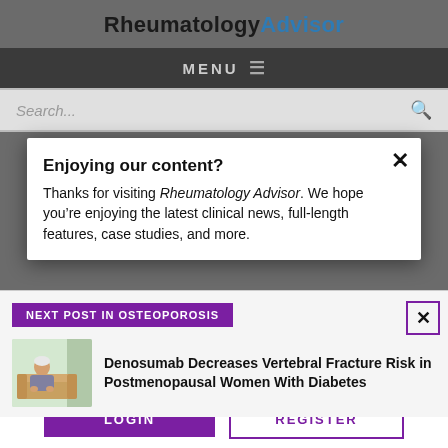RheumatologyAdvisor
MENU
Search...
Enjoying our content?
Thanks for visiting Rheumatology Advisor. We hope you’re enjoying the latest clinical news, full-length features, case studies, and more.
NEXT POST IN OSTEOPOROSIS
Denosumab Decreases Vertebral Fracture Risk in Postmenopausal Women With Diabetes
LOGIN   REGISTER